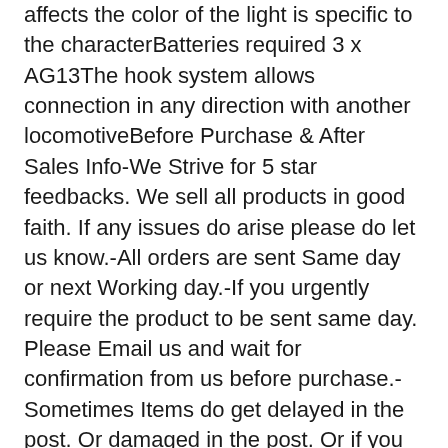affects the color of the light is specific to the characterBatteries required 3 x AG13The hook system allows connection in any direction with another locomotiveBefore Purchase & After Sales Info-We Strive for 5 star feedbacks. We sell all products in good faith. If any issues do arise please do let us know.-All orders are sent Same day or next Working day.-If you urgently require the product to be sent same day. Please Email us and wait for confirmation from us before purchase.-Sometimes Items do get delayed in the post. Or damaged in the post. Or if you have any other issues or Concern. Please let us know emailing us.30 DAY PEACE OF MIND MONEY BACK POLICYIf you not happy with your purchase. You can send back within 30 days. Provided the product is unused and in original condition. With all